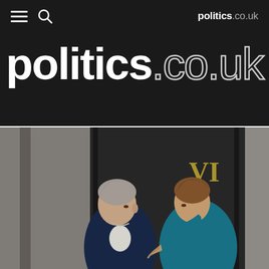politics.co.uk
politics.co.uk
[Figure (photo): Two women in conversation outside a dark doorway with roman numeral VI. One woman on the left wears a dark navy blazer with short grey hair, facing right. The other on the right wears a teal/turquoise blazer with short brown hair, gesturing with her right hand, facing left. Background shows stone columns and a black door.]